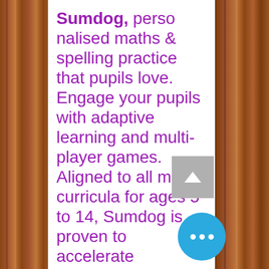Sumdog, personalised maths & spelling practice that pupils love. Engage your pupils with adaptive learning and multi-player games. Aligned to all major curricula for ages 5 to 14, Sumdog is proven to accelerate progress.